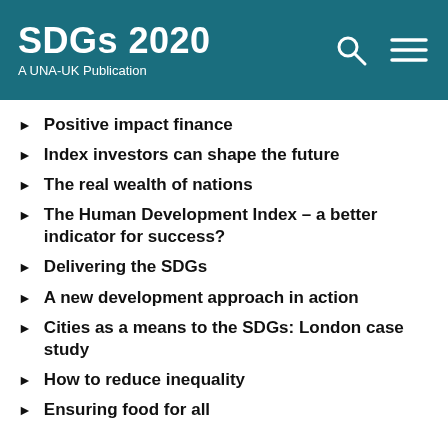SDGs 2020 A UNA-UK Publication
Positive impact finance
Index investors can shape the future
The real wealth of nations
The Human Development Index – a better indicator for success?
Delivering the SDGs
A new development approach in action
Cities as a means to the SDGs: London case study
How to reduce inequality
Ensuring food for all